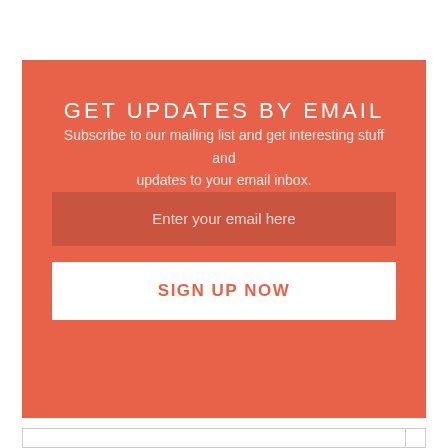GET UPDATES BY EMAIL
Subscribe to our mailing list and get interesting stuff and updates to your email inbox.
Enter your email here
SIGN UP NOW